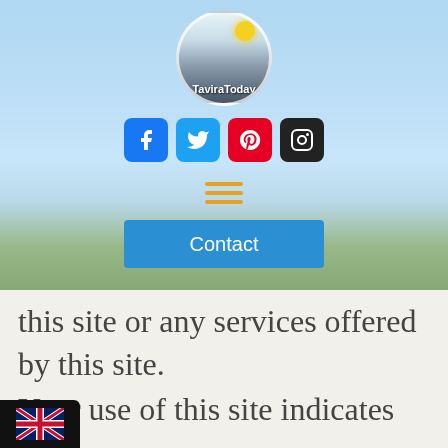[Figure (screenshot): TaviraToday website header showing logo circle with sun and cityscape, social media icons (Facebook, Twitter, Pinterest, Instagram), hamburger menu icon in orange, and a blue Contact button, all over a sky/sea background image]
this site or any services offered by this site.
Your use of this site indicates
[Figure (illustration): UK flag emoji in a dark rounded rectangle, language selector button]